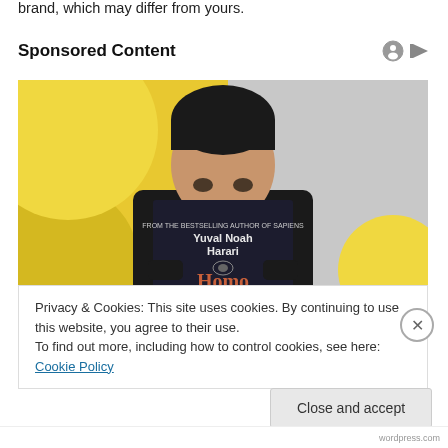brand, which may differ from yours.
Sponsored Content
[Figure (photo): Person holding a dark book titled 'Homo Deus' by Yuval Noah Harari in front of their face, against a yellow background with grey wall]
Privacy & Cookies: This site uses cookies. By continuing to use this website, you agree to their use.
To find out more, including how to control cookies, see here: Cookie Policy
Close and accept